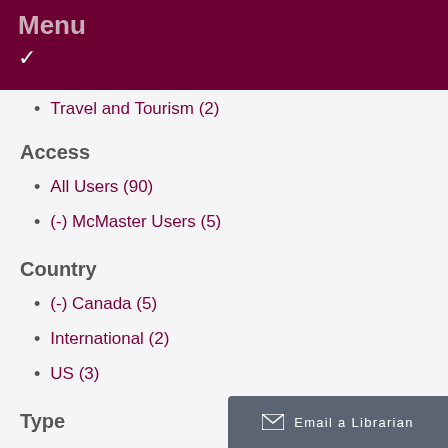Menu
Travel and Tourism (2)
Access
All Users (90)
(-) McMaster Users (5)
Country
(-) Canada (5)
International (2)
US (3)
Type
Microdata (2)
Statistics (5)
Email a Librarian